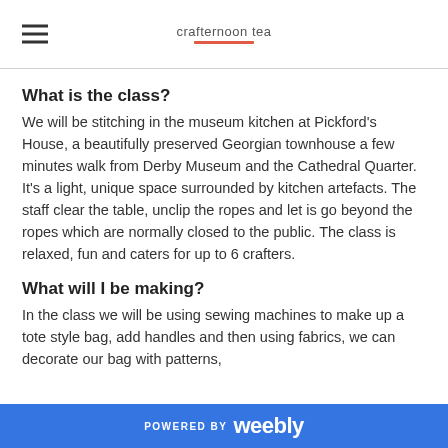crafternoon tea
What is the class?
We will be stitching in the museum kitchen at Pickford's House, a beautifully preserved Georgian townhouse a few minutes walk from Derby Museum and the Cathedral Quarter. It's a light, unique space surrounded by kitchen artefacts. The staff clear the table, unclip the ropes and let is go beyond the ropes which are normally closed to the public. The class is relaxed, fun and caters for up to 6 crafters.
What will I be making?
In the class we will be using sewing machines to make up a tote style bag, add handles and then using fabrics, we can decorate our bag with patterns,
POWERED BY weebly